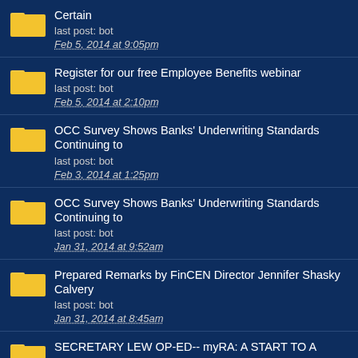Certain
last post: bot
Feb 5, 2014 at 9:05pm
Register for our free Employee Benefits webinar
last post: bot
Feb 5, 2014 at 2:10pm
OCC Survey Shows Banks' Underwriting Standards Continuing to
last post: bot
Feb 3, 2014 at 1:25pm
OCC Survey Shows Banks' Underwriting Standards Continuing to
last post: bot
Jan 31, 2014 at 9:52am
Prepared Remarks by FinCEN Director Jennifer Shasky Calvery
last post: bot
Jan 31, 2014 at 8:45am
SECRETARY LEW OP-ED-- myRA: A START TO A